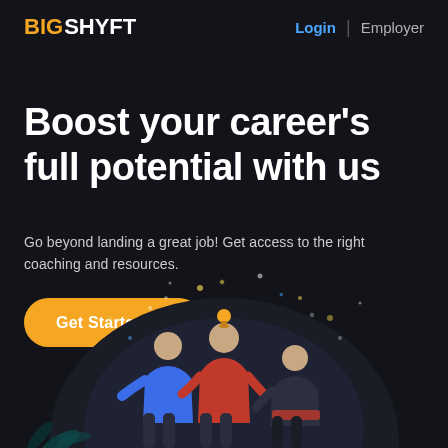BIG SHYFT | Login | Employer
Boost your career's full potential with us
Go beyond landing a great job! Get access to the right coaching and resources.
[Figure (illustration): Orange rounded button with text 'Get Started →']
[Figure (illustration): Illustration of three people standing together, the central figure holds a trophy, set against a dark circular background with celebratory confetti, with decorative leaves at bottom left. One person wears blue, one red, one dark jacket.]